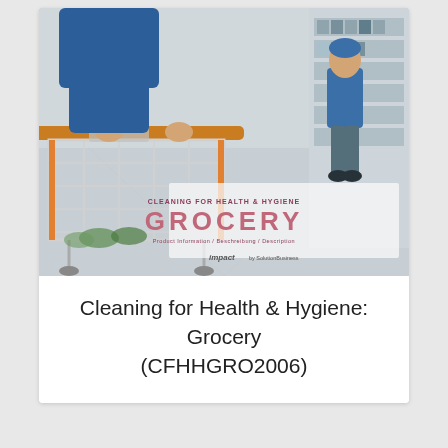[Figure (photo): Photo of a person pushing a shopping cart in a grocery store aisle. An orange-handled metal cart is in the foreground, a person in a blue jacket is visible in the background walking away. Store shelves line the aisle. Text overlay reads 'CLEANING FOR HEALTH & HYGIENE GROCERY' with 'impact' branding and additional subtitle text.]
Cleaning for Health & Hygiene: Grocery (CFHHGRO2006)